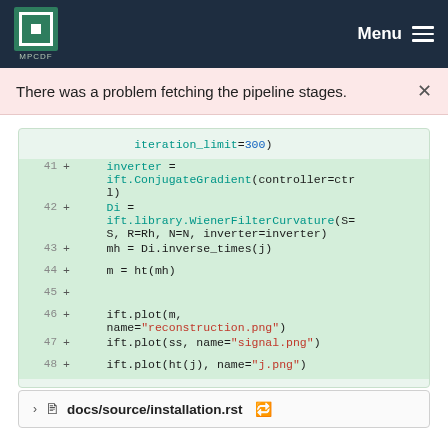MPCDF  Menu
There was a problem fetching the pipeline stages.
[Figure (screenshot): Code diff view showing lines 41-48 of a Python script with additions (green background). Lines include inverter assignment using ift.ConjugateGradient, Di assignment using ift.library.WienerFilterCurvature, mh and m assignments, ift.plot calls with string arguments 'reconstruction.png', 'signal.png', 'j.png'.]
docs/source/installation.rst